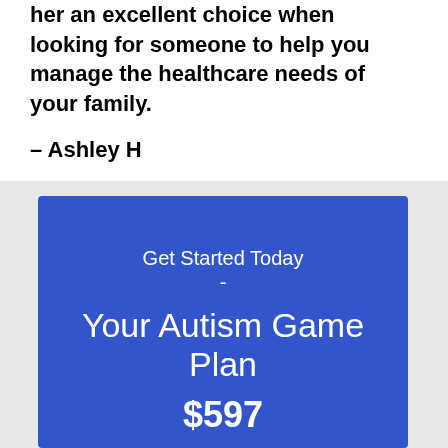her an excellent choice when looking for someone to help you manage the healthcare needs of your family.
– Ashley H
[Figure (infographic): Blue promotional box with text: 'Get Started Today - Your Autism Game Plan $597']